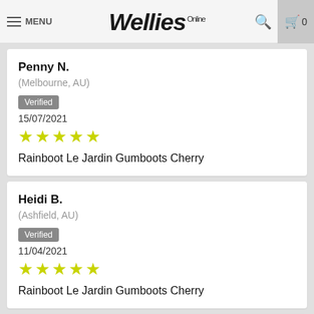MENU | Wellies Online | 0
Penny N.
(Melbourne, AU)
Verified
15/07/2021
★★★★★
Rainboot Le Jardin Gumboots Cherry
Heidi B.
(Ashfield, AU)
Verified
11/04/2021
★★★★★
Rainboot Le Jardin Gumboots Cherry
Jenny B.
(Melbourne, AU)